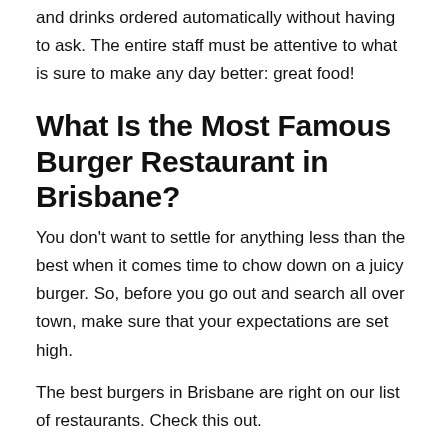and drinks ordered automatically without having to ask. The entire staff must be attentive to what is sure to make any day better: great food!
What Is the Most Famous Burger Restaurant in Brisbane?
You don't want to settle for anything less than the best when it comes time to chow down on a juicy burger. So, before you go out and search all over town, make sure that your expectations are set high.
The best burgers in Brisbane are right on our list of restaurants. Check this out.
Hashtag Burgers & Waffles
Hashtag Burgers & Waffles is not your ordinary restaurant. Being different makes them special. With their unique style of dining